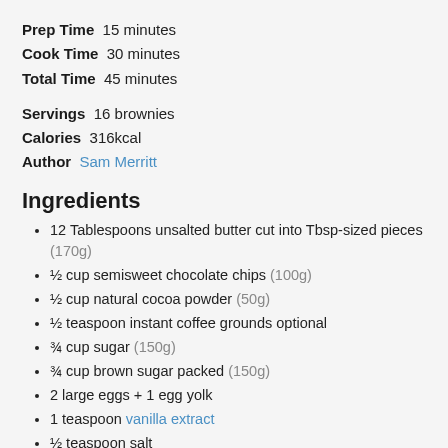Prep Time 15 minutes
Cook Time 30 minutes
Total Time 45 minutes
Servings 16 brownies
Calories 316kcal
Author Sam Merritt
Ingredients
12 Tablespoons unsalted butter cut into Tbsp-sized pieces (170g)
½ cup semisweet chocolate chips (100g)
½ cup natural cocoa powder (50g)
½ teaspoon instant coffee grounds optional
¾ cup sugar (150g)
¾ cup brown sugar packed (150g)
2 large eggs + 1 egg yolk
1 teaspoon vanilla extract
½ teaspoon salt
1 cup all-purpose flour (122g)
⅓ cup mini chocolate chips (70g)